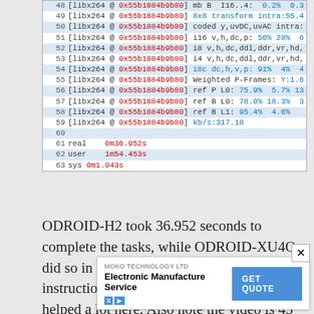[Figure (screenshot): Terminal/console output showing libx264 encoder statistics lines 48-63, with alternating blue/white row highlights. Lines 48-59 show libx264 encoder stats. Lines 61-63 show real/user/sys timing values: real 0m36.952s, user 1m54.453s, sys 0m1.043s.]
ODROID-H2 took 36.952 seconds to complete the tasks, while ODROID-XU4Q did so in 1m34.676s. Advanced SSE & AVX instructions on the Intel processor likely helped a lot here. Also note the video is 45 seconds long, so Ce... trans...
[Figure (screenshot): Advertisement overlay: MOKO TECHNOLOGY LTD Electronic Manufacture Service with GET QUOTE button and X/play icons.]